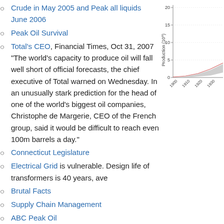Crude in May 2005 and Peak all liquids June 2006
Peak Oil Survival
Total's CEO, Financial Times, Oct 31, 2007 "The world's capacity to produce oil will fall well short of official forecasts, the chief executive of Total warned on Wednesday. In an unusually stark prediction for the head of one of the world's biggest oil companies, Christophe de Margerie, CEO of the French group, said it would be difficult to reach even 100m barrels a day."
[Figure (continuous-plot): Partial view of a chart showing oil production over time from 1900 to 1930+, with y-axis labeled 'Production (10^9)' ranging from 0 to 20, showing grey and red/pink trend lines.]
Connecticut Legislature
Electrical Grid is vulnerable. Design life of transformers is 40 years, ave
Brutal Facts
Supply Chain Management
ABC Peak Oil
Peak Minerals
Pentagon Study
Synapses and details
End of Oil
Oil Experts on Need
Lack of Political Will